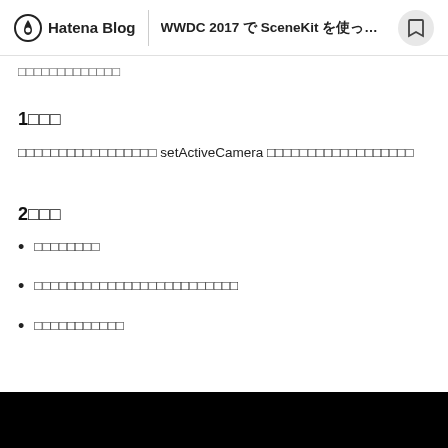Hatena Blog | WWDC 2017 で SceneKit を使った Fox 2 の…
□□□□□□□□□□□□□
1□□□
□□□□□□□□□□□□□□□□□ setActiveCamera □□□□□□□□□□□□□□□□□□
2□□□
□□□□□□□□
□□□□□□□□□□□□□□□□□□□□□□□□□
□□□□□□□□□□□